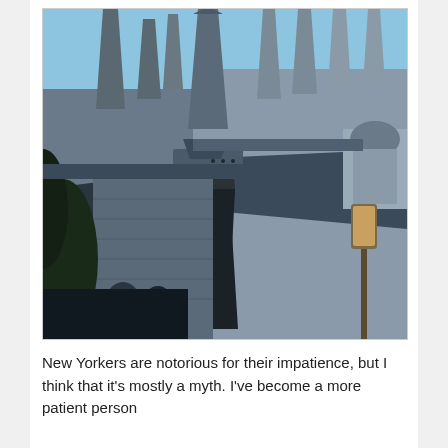[Figure (photo): Photograph of a Gothic cathedral exterior, showing ornate stone spires, pointed arches, decorative pinnacles, carved stonework above an arched doorway entrance, and a lamp post on the right side. Blue sky is visible above. Likely Trinity Church or a similar Gothic Revival church in New York City.]
New Yorkers are notorious for their impatience, but I think that it's mostly a myth. I've become a more patient person